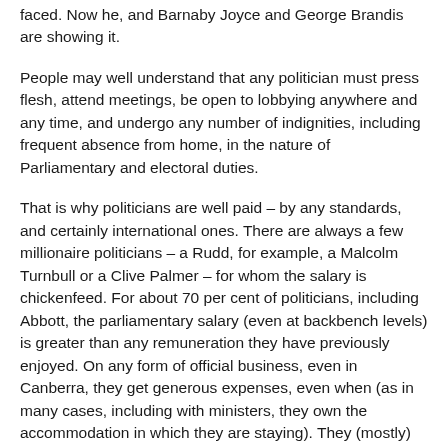faced. Now he, and Barnaby Joyce and George Brandis are showing it.
People may well understand that any politician must press flesh, attend meetings, be open to lobbying anywhere and any time, and undergo any number of indignities, including frequent absence from home, in the nature of Parliamentary and electoral duties.
That is why politicians are well paid – by any standards, and certainly international ones. There are always a few millionaire politicians – a Rudd, for example, a Malcolm Turnbull or a Clive Palmer – for whom the salary is chickenfeed. For about 70 per cent of politicians, including Abbott, the parliamentary salary (even at backbench levels) is greater than any remuneration they have previously enjoyed. On any form of official business, even in Canberra, they get generous expenses, even when (as in many cases, including with ministers, they own the accommodation in which they are staying). They (mostly) travel first class.